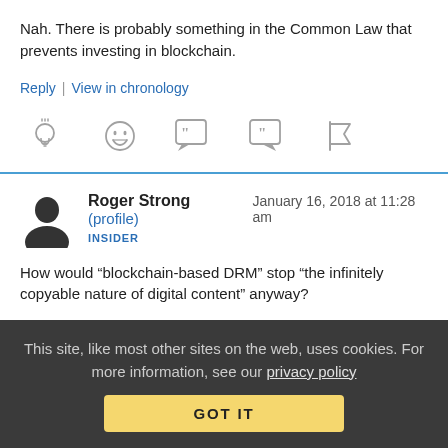Nah. There is probably something in the Common Law that prevents investing in blockchain.
Reply | View in chronology
[Figure (other): Row of five action icons: lightbulb, laughing face, open-quote speech bubble, close-quote speech bubble, flag]
Roger Strong (profile) January 16, 2018 at 11:28 am
INSIDER
How would “blockchain-based DRM” stop “the infinitely copyable nature of digital content” anyway?
This site, like most other sites on the web, uses cookies. For more information, see our privacy policy
GOT IT